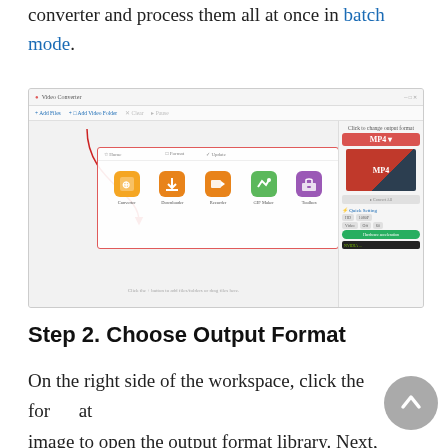converter and process them all at once in batch mode.
[Figure (screenshot): Screenshot of a video converter software UI showing the main workspace with toolbox panel open displaying: Converter, Downloader, Recorder, GIF Maker, and Toolbox icons. A red arrow points from the Add Files button down to the Converter icon. The right sidebar shows the MP4 output format panel with Quick Settings.]
Step 2. Choose Output Format
On the right side of the workspace, click the format image to open the output format library. Next, under